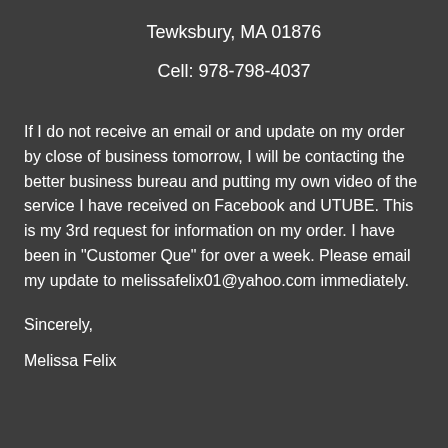Tewksbury, MA 01876
Cell:  978-798-4037
If I do not receive an email or and update on my order by close of business tomorrow, I will be contacting the better business bureau and putting my own video of the service I have received on Facebook and UTUBE.  This is my 3rd request for information on my order. I have been in "Customer Que" for over a week.  Please email my update to melissafelix01@yahoo.com immediately.
Sincerely,
Melissa Felix